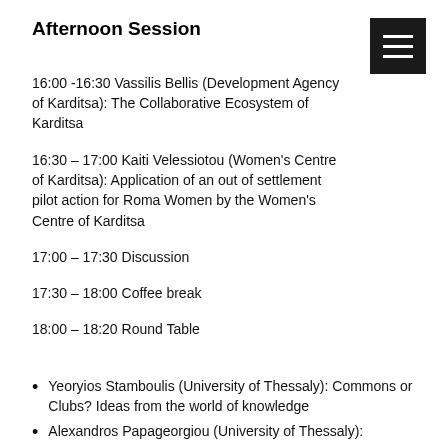Afternoon Session
16:00 -16:30 Vassilis Bellis (Development Agency of Karditsa): The Collaborative Ecosystem of Karditsa
16:30 – 17:00 Kaiti Velessiotou (Women's Centre of Karditsa): Application of an out of settlement pilot action for Roma Women by the Women's Centre of Karditsa
17:00 – 17:30 Discussion
17:30 – 18:00 Coffee break
18:00 – 18:20 Round Table
Yeoryios Stamboulis (University of Thessaly): Commons or Clubs? Ideas from the world of knowledge
Alexandros Papageorgiou (University of Thessaly):